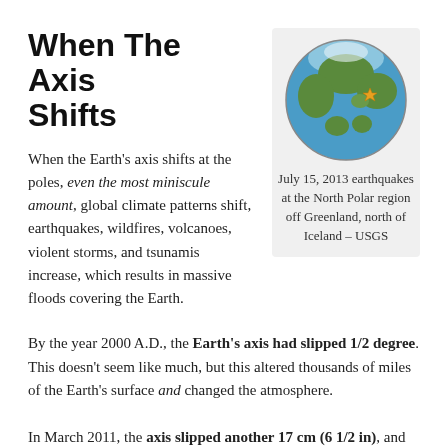When The Axis Shifts
When the Earth’s axis shifts at the poles, even the most miniscule amount, global climate patterns shift, earthquakes, wildfires, volcanoes, violent storms, and tsunamis increase, which results in massive floods covering the Earth.
[Figure (illustration): Globe illustration showing a top-down view of the North Polar region with green landmasses (Greenland, northern Europe/Asia) and blue ocean, with a small gold star marker indicating earthquake location.]
July 15, 2013 earthquakes at the North Polar region off Greenland, north of Iceland – USGS
By the year 2000 A.D., the Earth’s axis had slipped 1/2 degree. This doesn’t seem like much, but this altered thousands of miles of the Earth’s surface and changed the atmosphere.
In March 2011, the axis slipped another 17 cm (6 1/2 in), and